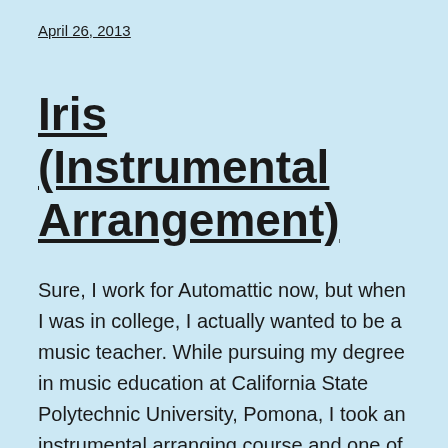April 26, 2013
Iris (Instrumental Arrangement)
Sure, I work for Automattic now, but when I was in college, I actually wanted to be a music teacher. While pursuing my degree in music education at California State Polytechnic University, Pomona, I took an instrumental arranging course and one of my assignments was to